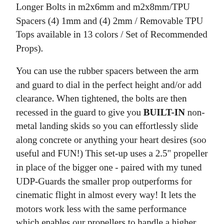Longer Bolts in m2x6mm and m2x8mm/TPU Spacers (4) 1mm and (4) 2mm / Removable TPU Tops available in 13 colors / Set of Recommended Props).
You can use the rubber spacers between the arm and guard to dial in the perfect height and/or add clearance. When tightened, the bolts are then recessed in the guard to give you BUILT-IN non-metal landing skids so you can effortlessly slide along concrete or anything your heart desires (soo useful and FUN!) This set-up uses a 2.5" propeller in place of the bigger one - paired with my tuned UDP-Guards the smaller prop outperforms for cinematic flight in almost every way! It lets the motors work less with the same performance which enables our propellers to handle a higher load and give better flight times because of the increased thrust and efficiency!